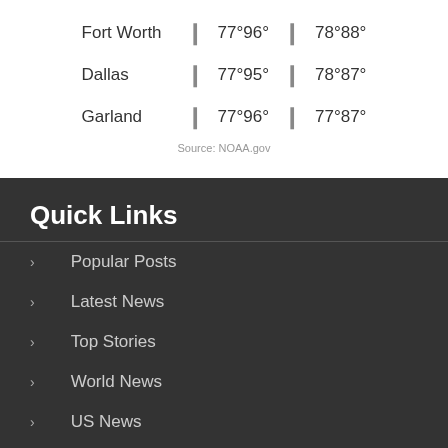| City |  | Temp1 |  | Temp2 |
| --- | --- | --- | --- | --- |
| Fort Worth | ❙ | 77°96° | ❙ | 78°88° |
| Dallas | ❙ | 77°95° | ❙ | 78°87° |
| Garland | ❙ | 77°96° | ❙ | 77°87° |
Source: NOAA.gov
Quick Links
Popular Posts
Latest News
Top Stories
World News
US News